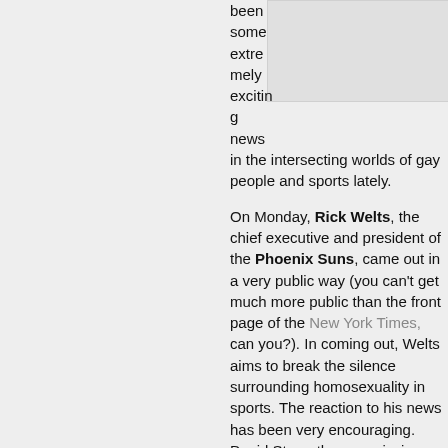[Figure (photo): Gray placeholder image box in upper right area]
been some extremely exciting news in the intersecting worlds of gay people and sports lately.
On Monday, Rick Welts, the chief executive and president of the Phoenix Suns, came out in a very public way (you can't get much more public than the front page of the New York Times, can you?). In coming out, Welts aims to break the silence surrounding homosexuality in sports. The reaction to his news has been very encouraging. David Stern, the commissioner of the NBA, has been nothing but supportive. Before coming out to the world at large, Welts came out to Bill Russell, one of the greatest basketball players of all time, and to Steve Nash, the Suns point guard and two-time NBA MVP, both of whom offered their full support and respect.
Continue reading »